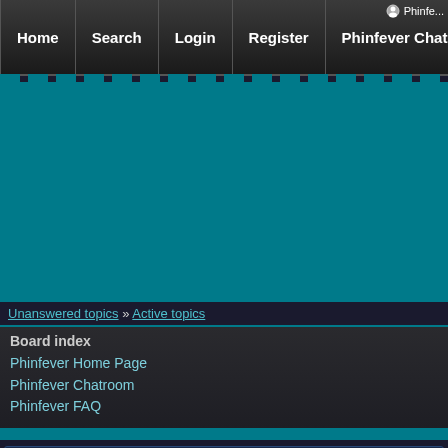Home | Search | Login | Register | Phinfever Chat
Unanswered topics » Active topics
Board index
Phinfever Home Page
Phinfever Chatroom
Phinfever FAQ
Phinfever.com - Privacy policy
This policy explains in detail how "Phinfever.com" along with its affiliated compani... "Phinfever.com" (hereinafter "us", "we", "our", "Phinfever.com" or phpBB (hereinafter "t...